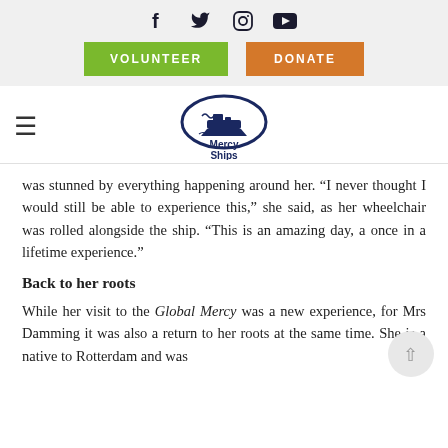[Figure (other): Social media icons: Facebook, Twitter, Instagram, YouTube]
[Figure (other): Volunteer and Donate call-to-action buttons]
[Figure (logo): Mercy Ships logo with ship graphic and text]
was stunned by everything happening around her. “I never thought I would still be able to experience this,” she said, as her wheelchair was rolled alongside the ship. “This is an amazing day, a once in a lifetime experience.”
Back to her roots
While her visit to the Global Mercy was a new experience, for Mrs Damming it was also a return to her roots at the same time. She is a native to Rotterdam and was